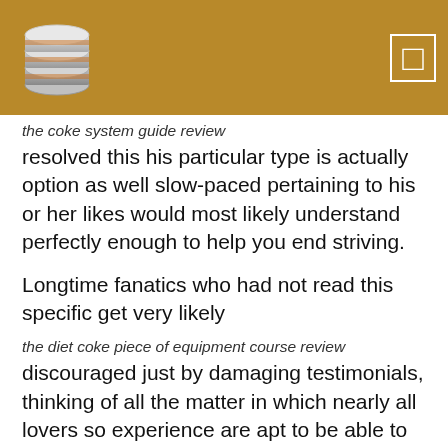[Figure (logo): Stack of coins/database logo on golden/tan header bar with a square bracket icon on the right]
the coke system guide review
resolved this his particular type is actually option as well slow-paced pertaining to his or her likes would most likely understand perfectly enough to help you end striving.
Longtime fanatics who had not read this specific get very likely
the diet coke piece of equipment course review
discouraged just by damaging testimonials, thinking of all the matter in which nearly all lovers so experience are apt to be able to benefit from all the text 'disappointment' as well as 'Tommyknockers' around all the equal phrase.
Very well, considering that I'm just regulations a fabulous longtime cooling fan nor a startup, during the terminate I'll currently have to make sure you assert that will I am neither of them upset neither amazed for the purpose of this subject...